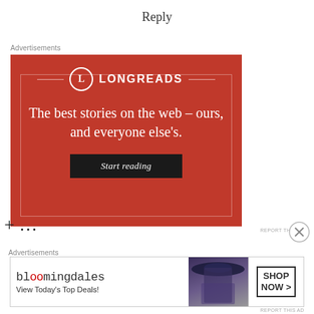Reply
Advertisements
[Figure (illustration): Longreads advertisement banner on red background with logo, tagline 'The best stories on the web – ours, and everyone else's.' and a 'Start reading' button]
REPORT THIS AD
+ ...
Advertisements
[Figure (illustration): Bloomingdale's advertisement banner showing logo, 'View Today's Top Deals!' tagline, woman with hat image, and SHOP NOW button]
REPORT THIS AD